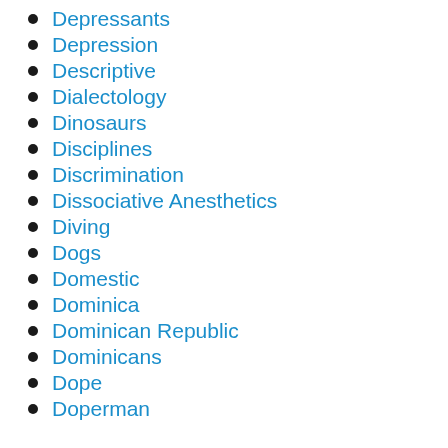Depressants
Depression
Descriptive
Dialectology
Dinosaurs
Disciplines
Discrimination
Dissociative Anesthetics
Diving
Dogs
Domestic
Dominica
Dominican Republic
Dominicans
Dope
Doperman